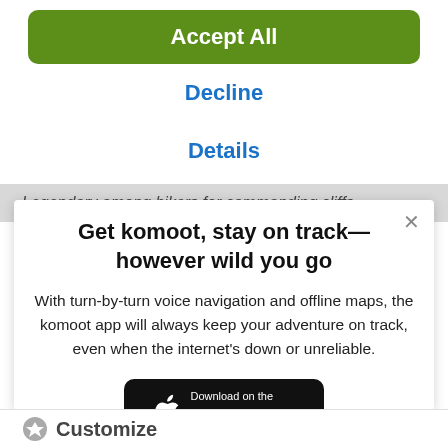[Figure (screenshot): Green 'Accept All' button with rounded corners]
Decline
Details
Legendary among hikers for commanding cliffs
Get komoot, stay on track—however wild you go
With turn-by-turn voice navigation and offline maps, the komoot app will always keep your adventure on track, even when the internet's down or unreliable.
[Figure (screenshot): Download on the App Store button]
Customize